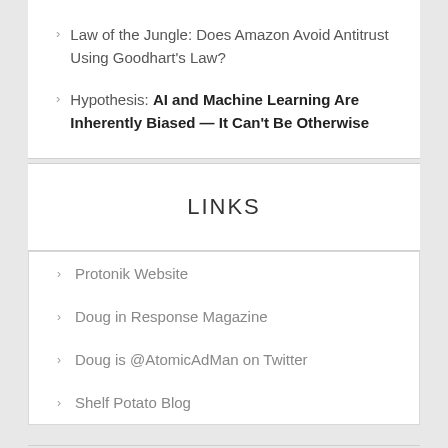Law of the Jungle: Does Amazon Avoid Antitrust Using Goodhart's Law?
Hypothesis: AI and Machine Learning Are Inherently Biased — It Can't Be Otherwise
LINKS
Protonik Website
Doug in Response Magazine
Doug is @AtomicAdMan on Twitter
Shelf Potato Blog
WORDPRESS GENERAL